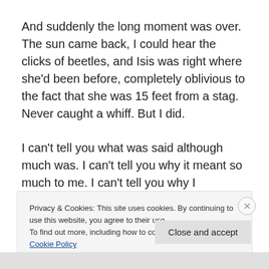And suddenly the long moment was over. The sun came back, I could hear the clicks of beetles, and Isis was right where she'd been before, completely oblivious to the fact that she was 15 feet from a stag. Never caught a whiff. But I did.
I can't tell you what was said although much was. I can't tell you why it meant so much to me. I can't tell you why I
Privacy & Cookies: This site uses cookies. By continuing to use this website, you agree to their use.
To find out more, including how to control cookies, see here: Cookie Policy
Close and accept